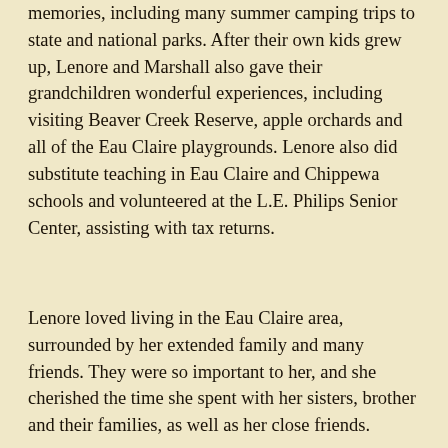memories, including many summer camping trips to state and national parks. After their own kids grew up, Lenore and Marshall also gave their grandchildren wonderful experiences, including visiting Beaver Creek Reserve, apple orchards and all of the Eau Claire playgrounds. Lenore also did substitute teaching in Eau Claire and Chippewa schools and volunteered at the L.E. Philips Senior Center, assisting with tax returns.
Lenore loved living in the Eau Claire area, surrounded by her extended family and many friends. They were so important to her, and she cherished the time she spent with her sisters, brother and their families, as well as her close friends.
Lenore was preceded in death by her parents, husband, Marshall and siblings, Karen and Patrick.
She is survived by her sisters, Beth and Margaret; her four children; her grandchildren; her Madelyn, Maddie...